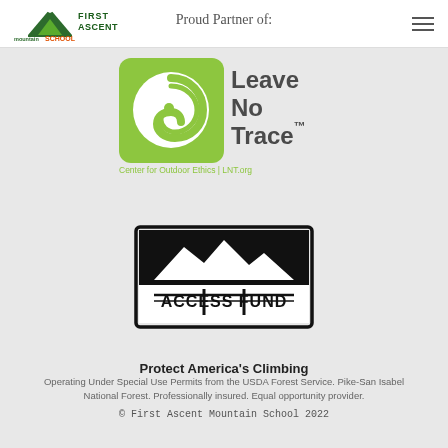Proud Partner of:
[Figure (logo): First Ascent Mountain School logo with mountain peak and green/dark triangle design]
[Figure (logo): Leave No Trace Center for Outdoor Ethics logo — green square with white spiral swirl, text 'Leave No Trace' in large letters, 'Center for Outdoor Ethics | LNT.org' below]
[Figure (logo): Access Fund logo — black rectangular border with mountain silhouette and fence graphic, 'ACCESS FUND' text, tagline 'Protect America's Climbing']
Protect America's Climbing
Operating Under Special Use Permits from the USDA Forest Service. Pike-San Isabel National Forest. Professionally insured. Equal opportunity provider.
© First Ascent Mountain School 2022